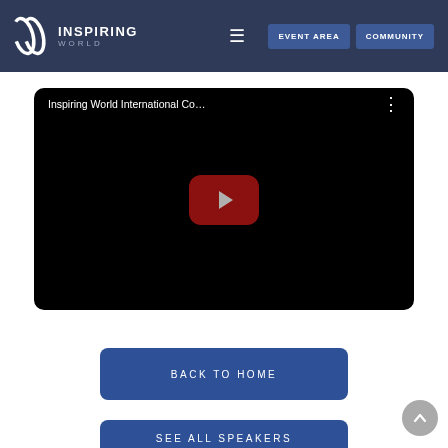Inspiring World | EVENT AREA | COMMUNITY
[Figure (screenshot): YouTube-style embedded video player with black background, title 'Inspiring World International Co…', three-dot menu icon, and a dark red play button in the center]
[Figure (other): Blue 'BACK TO HOME' button]
[Figure (other): Blue 'SEE ALL SPEAKERS' button (partially visible at bottom)]
[Figure (other): Gray circular scroll-to-top button with upward chevron arrow, bottom right]